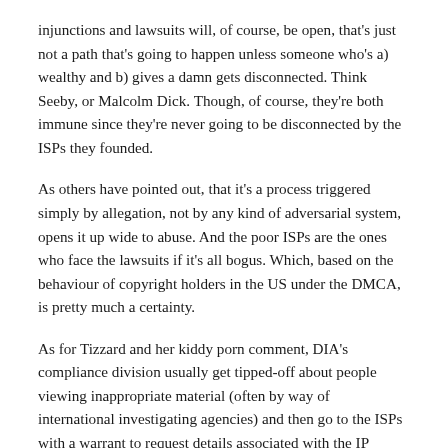injunctions and lawsuits will, of course, be open, that's just not a path that's going to happen unless someone who's a) wealthy and b) gives a damn gets disconnected. Think Seeby, or Malcolm Dick. Though, of course, they're both immune since they're never going to be disconnected by the ISPs they founded.
As others have pointed out, that it's a process triggered simply by allegation, not by any kind of adversarial system, opens it up wide to abuse. And the poor ISPs are the ones who face the lawsuits if it's all bogus. Which, based on the behaviour of copyright holders in the US under the DMCA, is pretty much a certainty.
As for Tizzard and her kiddy porn comment, DIA's compliance division usually get tipped-off about people viewing inappropriate material (often by way of international investigating agencies) and then go to the ISPs with a warrant to request details associated with the IP address(es) in question. They have to get a judge to sign the warrant, which is one hurdle. They have to develop information in